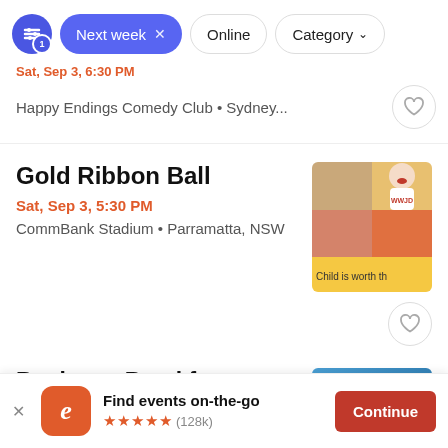[Figure (screenshot): Filter bar with filter icon (badge 1), active 'Next week ×' chip in blue, 'Online' outline chip, 'Category ↓' outline chip]
Sat, Sep 3, 6:30 PM
Happy Endings Comedy Club • Sydney...
Gold Ribbon Ball
Sat, Sep 3, 5:30 PM
CommBank Stadium • Parramatta, NSW
[Figure (photo): Thumbnail mosaic photo of a child laughing with text overlay 'Child is worth th']
Business Breakfast
[Figure (screenshot): App banner: Eventbrite logo, 'Find events on-the-go', 5 stars (128k), Continue button]
Find events on-the-go
★★★★★ (128k)
Continue